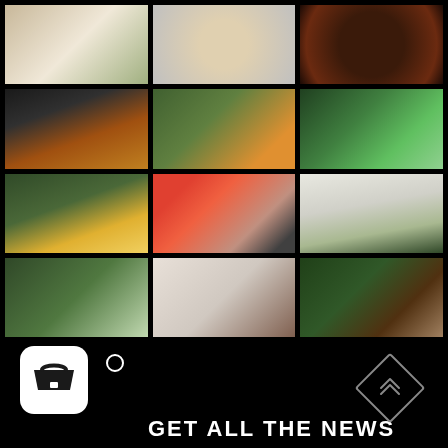[Figure (photo): 3x4 grid of product photos showing juices, smoothies, bowls, and health food items on white backgrounds]
[Figure (logo): White shopping basket app icon with small circle above it]
GET ALL THE NEWS